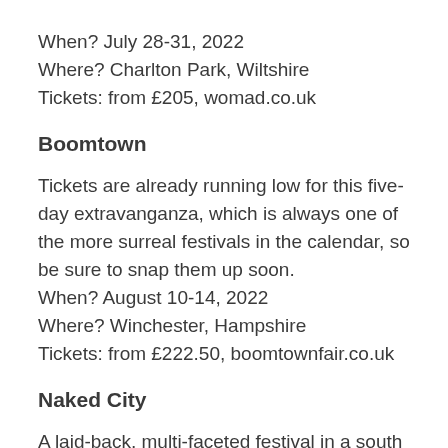When? July 28-31, 2022
Where? Charlton Park, Wiltshire
Tickets: from £205, womad.co.uk
Boomtown
Tickets are already running low for this five-day extravanganza, which is always one of the more surreal festivals in the calendar, so be sure to snap them up soon.
When? August 10-14, 2022
Where? Winchester, Hampshire
Tickets: from £222.50, boomtownfair.co.uk
Naked City
A laid-back, multi-faceted festival in a south